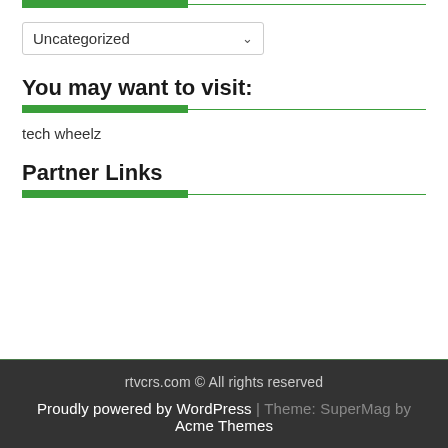[Figure (other): Green thick bar with thin green horizontal line divider at top of page]
Uncategorized
You may want to visit:
[Figure (other): Green thick bar with thin green horizontal line divider below section header]
tech wheelz
Partner Links
[Figure (other): Green thick bar with thin green horizontal line divider below Partner Links header]
rtvcrs.com © All rights reserved
Proudly powered by WordPress | Theme: SuperMag by Acme Themes